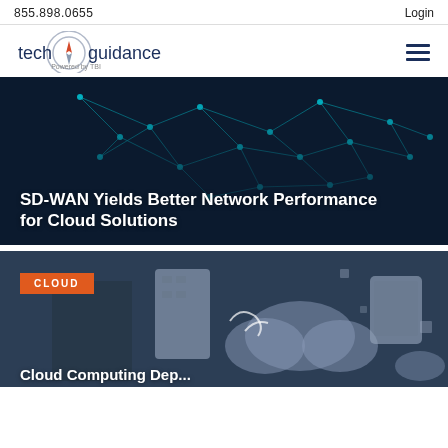855.898.0655   Login
[Figure (logo): Tech Guidance logo with compass icon, 'Powered by TBI' subtitle]
[Figure (photo): Dark blue network/neural network background with glowing teal geometric polygonal connections forming a brain-like shape. White bold headline text: 'SD-WAN Yields Better Network Performance for Cloud Solutions']
SD-WAN Yields Better Network Performance for Cloud Solutions
[Figure (photo): Dark background showing cloud computing icons, server racks, tablet devices, and a person touching cloud icons. Orange 'CLOUD' tag in upper left. Partially visible headline at bottom: 'Cloud Computing Deployment']